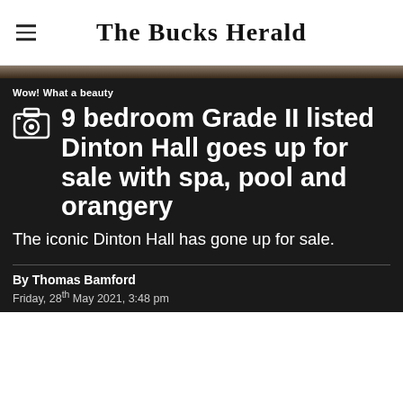The Bucks Herald
Wow! What a beauty
9 bedroom Grade II listed Dinton Hall goes up for sale with spa, pool and orangery
The iconic Dinton Hall has gone up for sale.
By Thomas Bamford
Friday, 28th May 2021, 3:48 pm